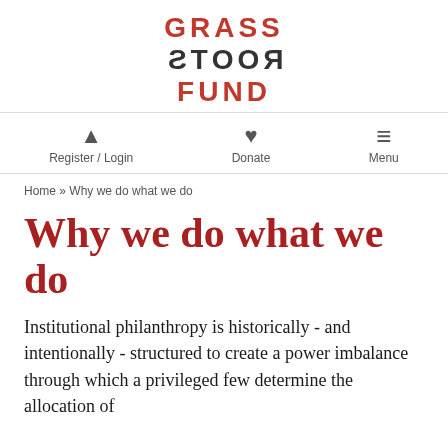[Figure (logo): Grassroots Fund logo with GRASS in red, ROOTS (mirrored) in dark, FUND in red]
Register / Login   Donate   Menu
Home » Why we do what we do
Why we do what we do
Institutional philanthropy is historically - and intentionally - structured to create a power imbalance through which a privileged few determine the allocation of resources (assets, dollars). While the